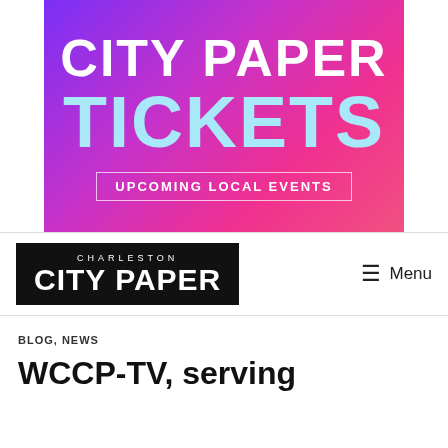[Figure (logo): City Paper Tickets banner with gradient purple-pink background, showing 'CITY PAPER' in white bold text, 'TICKETS' in light blue bold text, and 'UPCOMING LOCAL EVENTS' in a white bordered box]
[Figure (logo): Charleston City Paper logo in black rectangle with white text]
Menu
BLOG, NEWS
WCCP-TV, serving